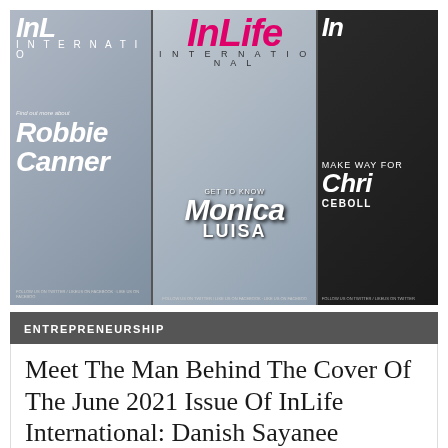[Figure (photo): Three InLife International magazine covers side by side. Left cover features Robbie Canner with 'Find out more about Robbie Canner' text. Center cover features Monica Luisa in pink clothing with 'Get To Know Monica Luisa' text and the InLife logo in pink. Right cover shows a man with 'Make Way For Chris Ceboll' text on dark background.]
ENTREPRENEURSHIP
Meet The Man Behind The Cover Of The June 2021 Issue Of InLife International: Danish Sayanee